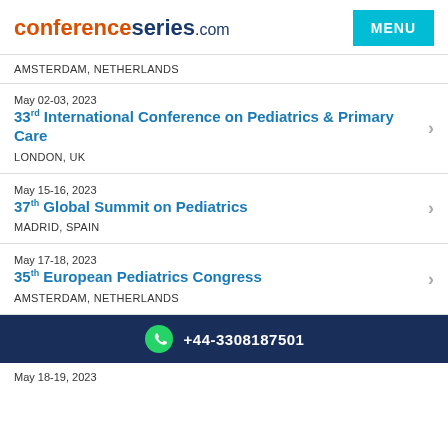conferenceseries.com  MENU
AMSTERDAM, NETHERLANDS
May 02-03, 2023
33rd International Conference on Pediatrics & Primary Care
LONDON, UK
May 15-16, 2023
37th Global Summit on Pediatrics
MADRID, SPAIN
May 17-18, 2023
35th European Pediatrics Congress
AMSTERDAM, NETHERLANDS
+44-3308187501
May 18-19, 2023